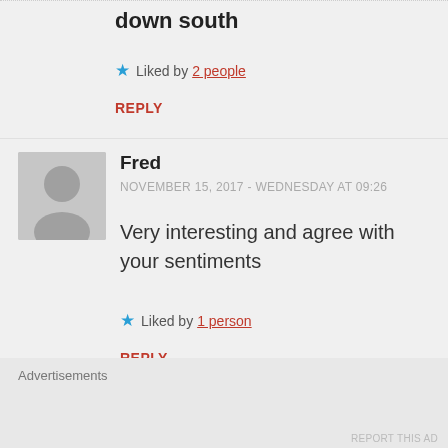down south
★ Liked by 2 people
REPLY
Fred
NOVEMBER 15, 2017 - WEDNESDAY AT 09:26
Very interesting and agree with your sentiments
★ Liked by 1 person
REPLY
Advertisements